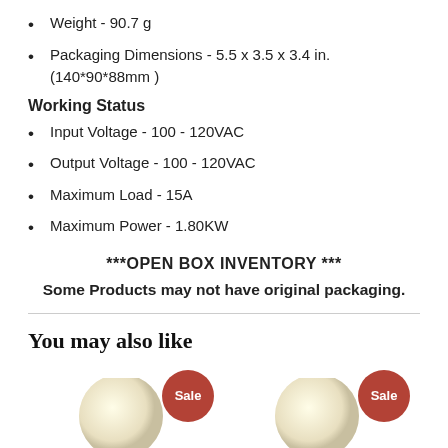Weight - 90.7 g
Packaging Dimensions - 5.5 x 3.5 x 3.4 in.(140*90*88mm )
Working Status
Input Voltage - 100 - 120VAC
Output Voltage - 100 - 120VAC
Maximum Load - 15A
Maximum Power - 1.80KW
***OPEN BOX INVENTORY ***
Some Products may not have original packaging.
You may also like
[Figure (photo): Two product images with Sale badges, showing light bulbs.]